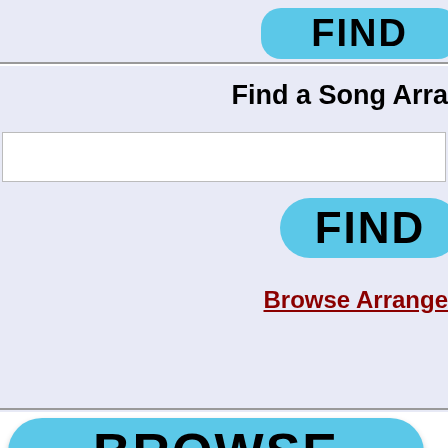[Figure (screenshot): Top partial section showing a blue FIND button on a lavender background, cropped at top]
Find a Song Arra
[Figure (screenshot): White search input box]
[Figure (screenshot): Blue FIND button]
Browse Arrange
[Figure (screenshot): Blue BROWSE button]
[Figure (screenshot): Blue SEARCH HERE button]